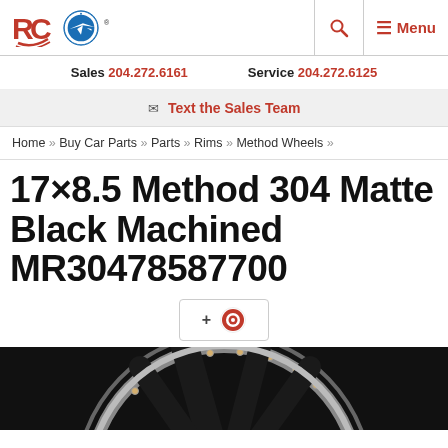RC [logo] [milieu logo] [search icon] ☰ Menu
Sales 204.272.6161    Service 204.272.6125
✉ Text the Sales Team
Home » Buy Car Parts » Parts » Rims » Method Wheels »
17×8.5 Method 304 Matte Black Machined MR30478587700
[Figure (other): Plus icon with a red Method Wheels target/logo icon inside a bordered box]
[Figure (photo): Close-up photo of a 17x8.5 Method 304 Matte Black Machined wheel rim showing the black spokes and silver/chrome beadlock ring with bolts]